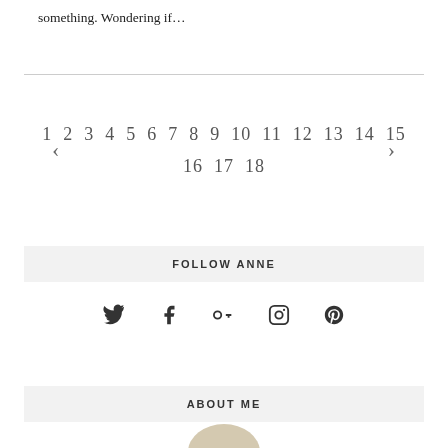something. Wondering if…
1 2 3 4 5 6 7 8 9 10 11 12 13 14 15 16 17 18
FOLLOW ANNE
[Figure (infographic): Social media icons: Twitter, Facebook, Google+, Instagram, Pinterest]
ABOUT ME
[Figure (photo): Partial photo of Anne, cropped at bottom of page]